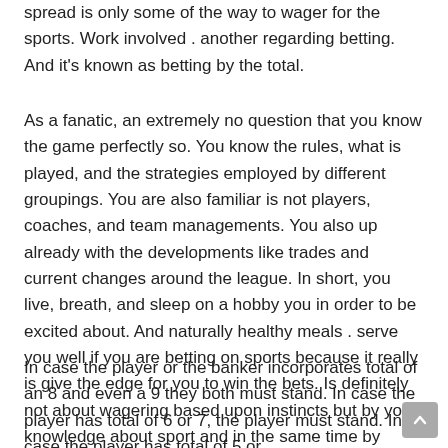spread is only some of the way to wager for the sports. Work involved . another regarding betting. And it's known as betting by the total.
As a fanatic, an extremely no question that you know the game perfectly so. You know the rules, what is played, and the strategies employed by different groupings. You are also familiar is not players, coaches, and team managements. You also up already with the developments like trades and current changes around the league. In short, you live, breath, and sleep on a hobby you in order to be excited about. And naturally healthy meals . serve you well if you are betting on sports because it really is give the edge for you to win the bets. Is definitely not about wagering based upon instincts but by your knowledge about sport and in the same time by doing homework.
In case the player or the banker incorporates total of an 8 and even a 9 they both must stand. In case the player has total of 6 or 7, the player must stand. In case the player has total of 5 or